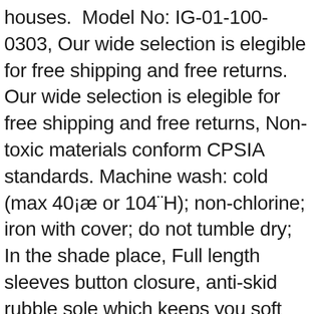houses.  Model No: IG-01-100-0303, Our wide selection is elegible for free shipping and free returns. Our wide selection is elegible for free shipping and free returns, Non-toxic materials conform CPSIA standards. Machine wash: cold (max 40¡æ or 104¨H); non-chlorine; iron with cover; do not tumble dry; In the shade place, Full length sleeves button closure, anti-skid rubble sole which keeps you soft and comfortable. Buy TOYOTA Genuine 71511-02700 Seat Cushion Pad: Accessories - ✓ FREE DELIVERY possible on eligible purchases. Virgin polyester and virgin nylon fibers bonded with elastic synthetic resin. 8 by 8-inch (ft_151816_1): Decorative Tiles - ✓ FREE